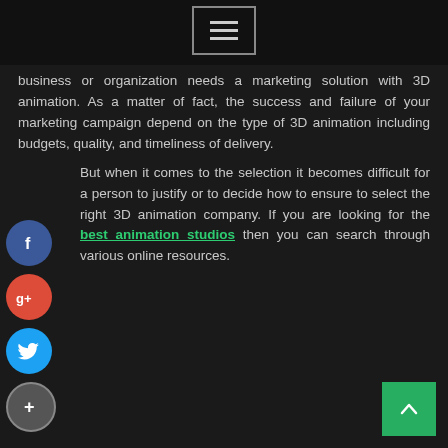[Figure (other): Navigation menu button with three horizontal bars (hamburger icon) in a bordered box on dark background]
business or organization needs a marketing solution with 3D animation. As a matter of fact, the success and failure of your marketing campaign depend on the type of 3D animation including budgets, quality, and timeliness of delivery.
But when it comes to the selection it becomes difficult for a person to justify or to decide how to ensure to select the right 3D animation company. If you are looking for the best animation studios then you can search through various online resources.
[Figure (other): Social sharing icons on the left side: Facebook (blue circle with f), Google+ (red circle with g+), Twitter (blue circle with bird), Add/share (grey circle with +)]
[Figure (other): Back to top button - green square with upward chevron arrow, positioned bottom right]